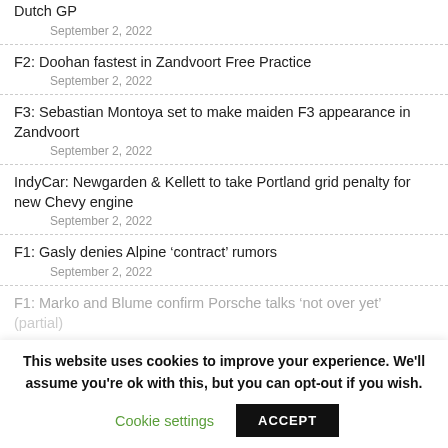Dutch GP
September 2, 2022
F2: Doohan fastest in Zandvoort Free Practice
September 2, 2022
F3: Sebastian Montoya set to make maiden F3 appearance in Zandvoort
September 2, 2022
IndyCar: Newgarden & Kellett to take Portland grid penalty for new Chevy engine
September 2, 2022
F1: Gasly denies Alpine ‘contract’ rumors
September 2, 2022
F1: Marko and Blume confirm Porsche talks ‘not over yet’ (partial)
This website uses cookies to improve your experience. We'll assume you're ok with this, but you can opt-out if you wish.
Cookie settings | ACCEPT